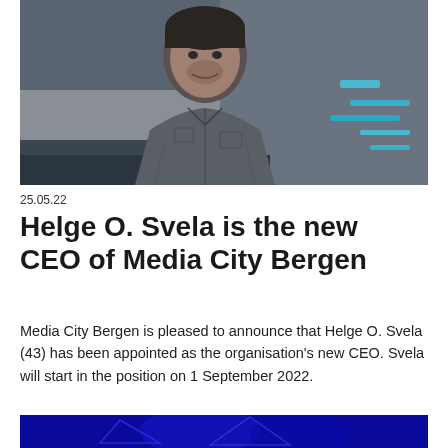[Figure (photo): Portrait photo of a smiling man wearing a grey denim shirt, standing indoors with blurred office/studio background with blue accents]
25.05.22
Helge O. Svela is the new CEO of Media City Bergen
Media City Bergen is pleased to announce that Helge O. Svela (43) has been appointed as the organisation's new CEO. Svela will start in the position on 1 September 2022.
[Figure (photo): Partial photo with dark blue background, beginning of another image]